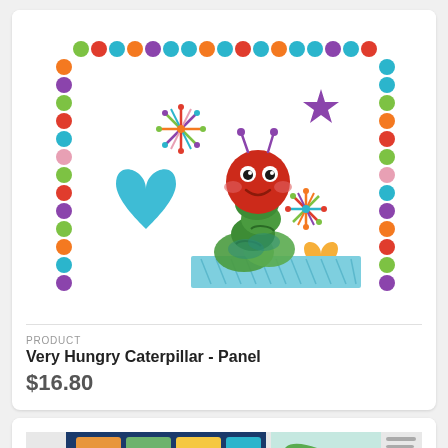[Figure (illustration): Very Hungry Caterpillar fabric panel illustration showing a colorful caterpillar with a red head on a blue base, surrounded by decorative elements (hearts, stars, starbursts) and a border of multicolored dots/circles.]
PRODUCT
Very Hungry Caterpillar - Panel
$16.80
[Figure (photo): Second product card showing a children's fabric panel with animal illustrations on a teal/blue background, partially visible at the bottom of the page.]